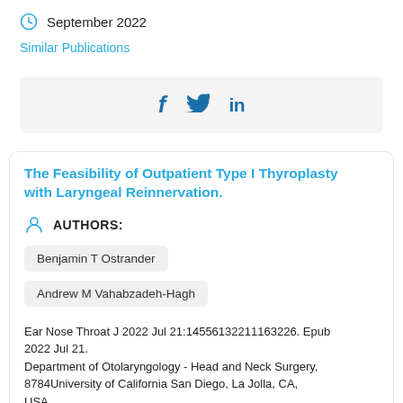September 2022
Similar Publications
[Figure (other): Social sharing bar with Facebook, Twitter, and LinkedIn icons]
The Feasibility of Outpatient Type I Thyroplasty with Laryngeal Reinnervation.
AUTHORS:
Benjamin T Ostrander
Andrew M Vahabzadeh-Hagh
Ear Nose Throat J 2022 Jul 21:14556132211163226. Epub 2022 Jul 21.
Department of Otolaryngology - Head and Neck Surgery, 8784University of California San Diego, La Jolla, CA, USA.
Type I thyroplasty has increasingly been performed on